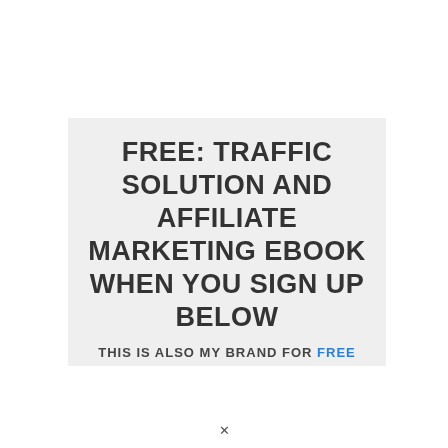FREE: TRAFFIC SOLUTION AND AFFILIATE MARKETING EBOOK WHEN YOU SIGN UP BELOW
THIS IS ALSO MY BRAND FOR FREE